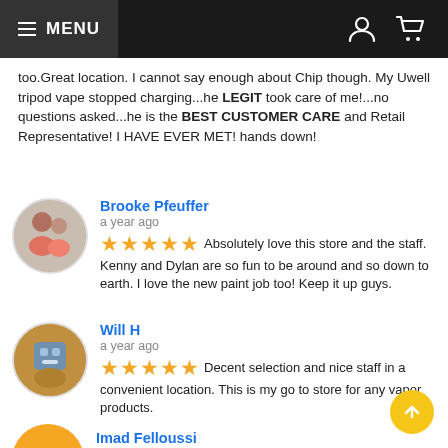MENU
too.Great location. I cannot say enough about Chip though. My Uwell tripod vape stopped charging...he LEGIT took care of me!...no questions asked...he is the BEST CUSTOMER CARE and Retail Representative! I HAVE EVER MET! hands down!
Brooke Pfeuffer
a year ago
★★★★★ Absolutely love this store and the staff. Kenny and Dylan are so fun to be around and so down to earth. I love the new paint job too! Keep it up guys.
Will H
a year ago
★★★★★ Decent selection and nice staff in a convenient location. This is my go to store for any vapor products.
Imad Felloussi
a year ago